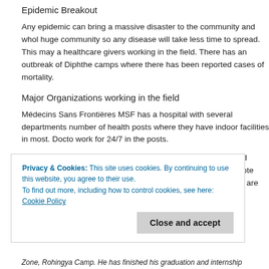Epidemic Breakout
Any epidemic can bring a massive disaster to the community and whole huge community so any disease will take less time to spread. This may healthcare givers working in the field. There has an outbreak of Diphthe camps where there has been reported cases of mortality.
Major Organizations working in the field
Médecins Sans Frontières MSF has a hospital with several departments number of health posts where they have indoor facilities in most. Docto work for 24/7 in the posts.
International Federation of Red Cross (IFRC) has set up a field hospital good investigation facilities. They also operate in remote camps and multiple international red crescents and crosses are working to provide
Privacy & Cookies: This site uses cookies. By continuing to use this website, you agree to their use.
To find out more, including how to control cookies, see here: Cookie Policy
Zone, Rohingya Camp. He has finished his graduation and internship